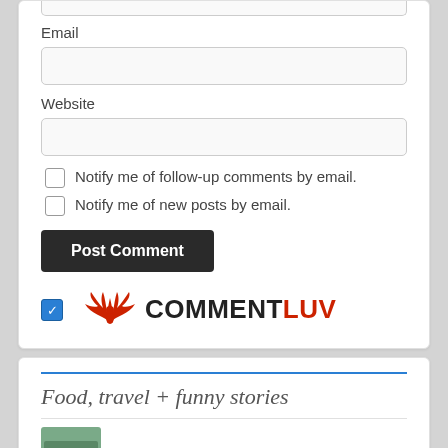Email
Website
Notify me of follow-up comments by email.
Notify me of new posts by email.
Post Comment
[Figure (logo): CommentLuv logo with red phoenix wings and bold COMMENT in black, LUV in red text, with a blue checked checkbox to the left]
Food, travel + funny stories